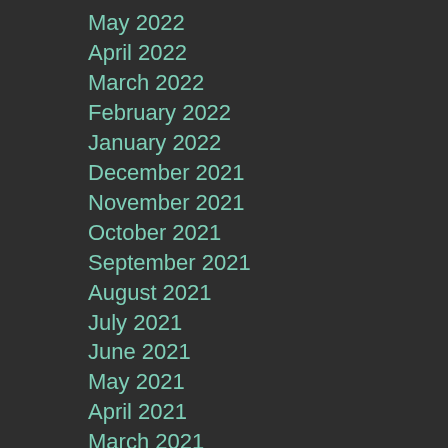May 2022
April 2022
March 2022
February 2022
January 2022
December 2021
November 2021
October 2021
September 2021
August 2021
July 2021
June 2021
May 2021
April 2021
March 2021
February 2021
January 2021
December 2020
November 2020